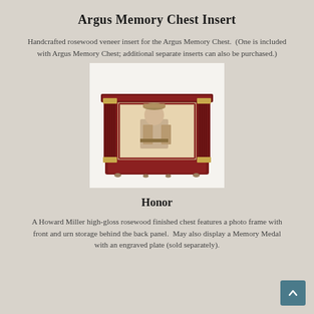Argus Memory Chest Insert
Handcrafted rosewood veneer insert for the Argus Memory Chest.  (One is included with Argus Memory Chest; additional separate inserts can also be purchased.)
[Figure (photo): Photo of a rosewood veneer memory chest insert with decorative columns, gold accents, and a framed photograph of a young man in military uniform displayed on the front.]
Honor
A Howard Miller high-gloss rosewood finished chest features a photo frame with front and urn storage behind the back panel.  May also display a Memory Medal with an engraved plate (sold separately).